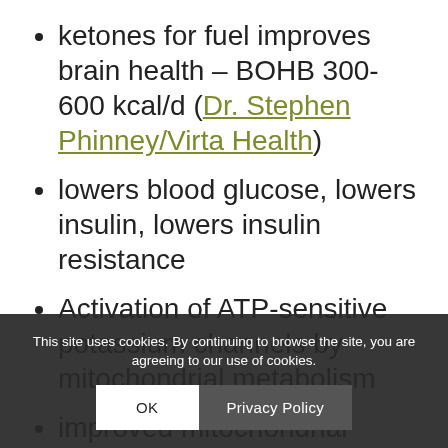ketones for fuel improves brain health – BOHB 300-600 kcal/d (Dr. Stephen Phinney/Virta Health)
lowers blood glucose, lowers insulin, lowers insulin resistance
Activation of ATP-sensitive potassium channels by mitochondrial metabolism
improved mitochondrial function by reduction of reactive oxygen species (ROS) – (source) which is also implicated in neurological disorders including Alzheimer's, MS, P..., s, ALS
This site uses cookies. By continuing to browse the site, you are agreeing to our use of cookies.